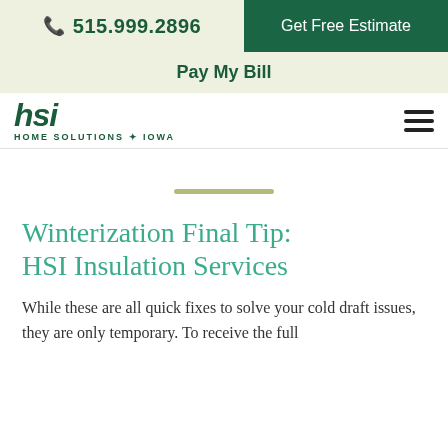515.999.2896  Get Free Estimate
Pay My Bill
[Figure (logo): HSI Home Solutions of Iowa logo with stylized HSI letters in dark green and tagline 'HOME SOLUTIONS OF IOWA' below]
Winterization Final Tip: HSI Insulation Services
While these are all quick fixes to solve your cold draft issues, they are only temporary. To receive the full